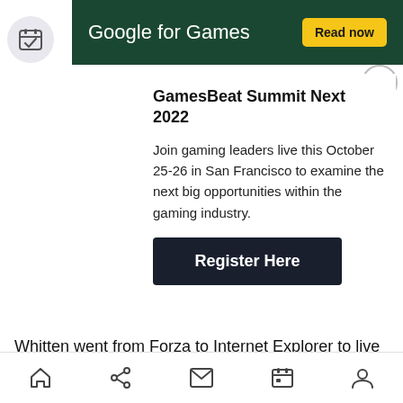[Figure (screenshot): Google for Games advertisement banner with dark green background, white text 'Google for Games' and yellow 'Read now' button]
[Figure (illustration): Calendar icon in light gray circle, top-left corner]
[Figure (illustration): Close (X) button, circular, top-right of modal]
GamesBeat Summit Next 2022
Join gaming leaders live this October 25-26 in San Francisco to examine the next big opportunities within the gaming industry.
[Figure (other): Dark navy 'Register Here' button]
Whitten went from Forza to Internet Explorer to live television viewing and back again all in a few seconds. He could swap between applications such
Home | Share | Mail | Calendar | Profile navigation icons